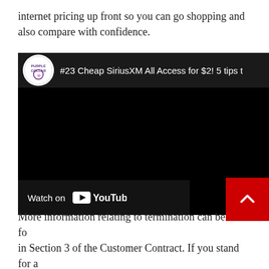internet pricing up front so you can go shopping and also compare with confidence.
[Figure (screenshot): YouTube video embed showing '#23 Cheap SiriusXM All Access for $2! 5 tips t...' with Purple Collar channel logo, black video area, and Watch on YouTube button at bottom left.]
More information relating to termination can be found in Section 3 of the Customer Contract. If you stand for a healthcare facility, institution, federal government, or